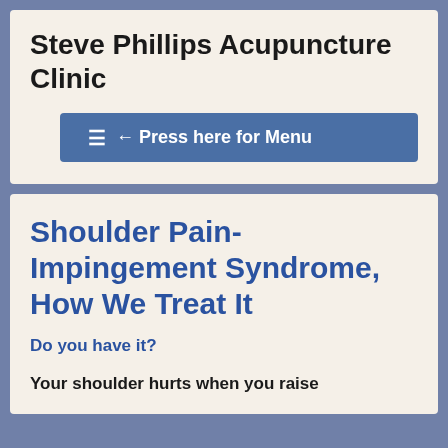Steve Phillips Acupuncture Clinic
[Figure (other): Blue button with hamburger menu icon and text '← Press here for Menu']
Shoulder Pain- Impingement Syndrome, How We Treat It
Do you have it?
Your shoulder hurts when you raise